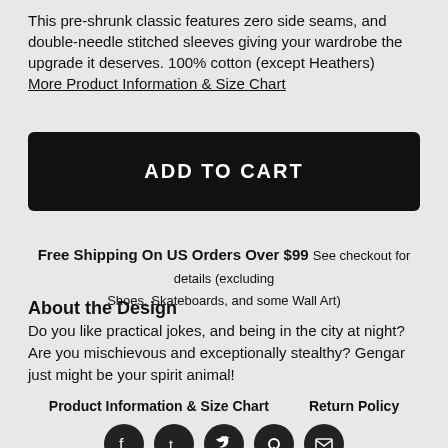This pre-shrunk classic features zero side seams, and double-needle stitched sleeves giving your wardrobe the upgrade it deserves. 100% cotton (except Heathers)
More Product Information & Size Chart
ADD TO CART
Free Shipping On US Orders Over $99 See checkout for details (excluding Shoes, Skateboards, and some Wall Art)
About the Design
Do you like practical jokes, and being in the city at night? Are you mischievous and exceptionally stealthy? Gengar just might be your spirit animal!
Product Information & Size Chart   Return Policy
[Figure (other): Social media share icons: Facebook, Tumblr, Twitter, Pinterest, Email]